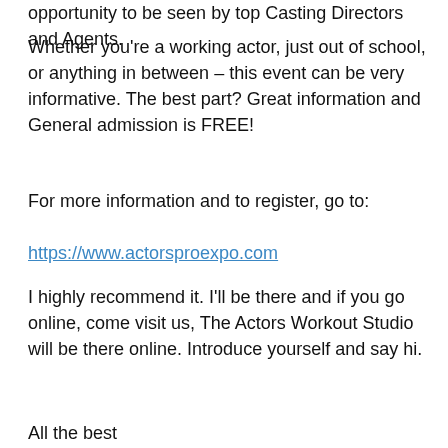opportunity to be seen by top Casting Directors and Agents.
Whether you're a working actor, just out of school, or anything in between – this event can be very informative. The best part? Great information and General admission is FREE!
For more information and to register, go to:
https://www.actorsproexpo.com
I highly recommend it. I'll be there and if you go online, come visit us, The Actors Workout Studio will be there online. Introduce yourself and say hi.
All the best